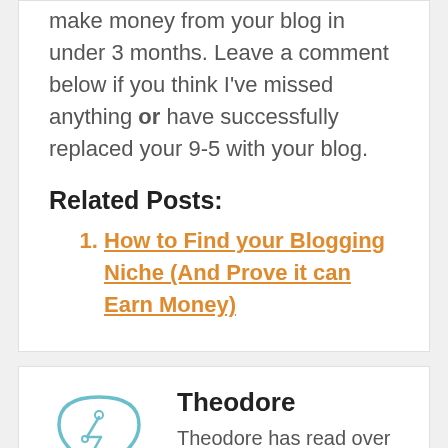make money from your blog in under 3 months. Leave a comment below if you think I've missed anything or have successfully replaced your 9-5 with your blog.
Related Posts:
How to Find your Blogging Niche (And Prove it can Earn Money)
Theodore
Theodore has read over 400